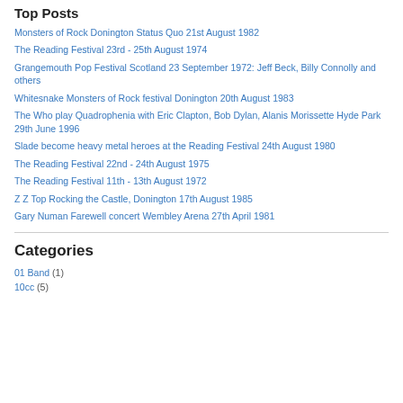Top Posts
Monsters of Rock Donington Status Quo 21st August 1982
The Reading Festival 23rd - 25th August 1974
Grangemouth Pop Festival Scotland 23 September 1972: Jeff Beck, Billy Connolly and others
Whitesnake Monsters of Rock festival Donington 20th August 1983
The Who play Quadrophenia with Eric Clapton, Bob Dylan, Alanis Morissette Hyde Park 29th June 1996
Slade become heavy metal heroes at the Reading Festival 24th August 1980
The Reading Festival 22nd - 24th August 1975
The Reading Festival 11th - 13th August 1972
Z Z Top Rocking the Castle, Donington 17th August 1985
Gary Numan Farewell concert Wembley Arena 27th April 1981
Categories
01 Band (1)
10cc (5)